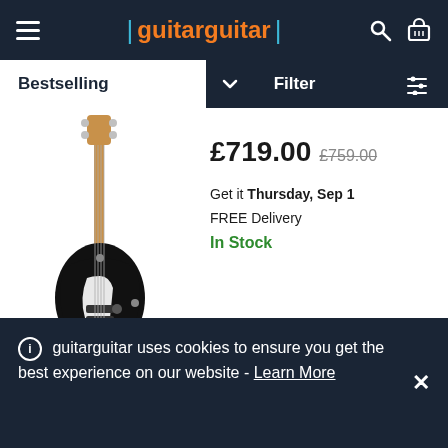guitarguitar
Bestselling | Filter
[Figure (photo): Black electric bass guitar (Jazz Bass style) with brown neck on white background]
£719.00 £759.00
Get it Thursday, Sep 1
FREE Delivery
In Stock
[Figure (photo): Blue electric bass guitar (American Ultra Jazz Bass Cobra Blue) partial view]
Fender American Ultra Jazz Bass Cobra
FREE Delivery
Available to Order
guitarguitar uses cookies to ensure you get the best experience on our website - Learn More